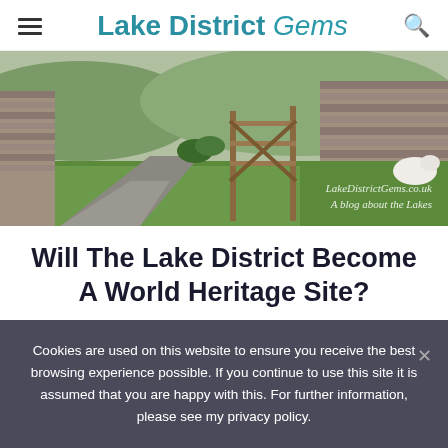Lake District Gems
[Figure (photo): A rural lane with a wooden gate and dry-stone walls in the Lake District; green grass verge. Watermark reads LakeDistrictGems.co.uk / A blog about the Lakes]
Will The Lake District Become A World Heritage Site?
Cookies are used on this website to ensure you receive the best browsing experience possible. If you continue to use this site it is assumed that you are happy with this. For further information, please see my privacy policy.